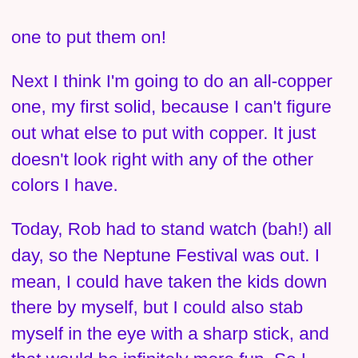one to put them on!
Next I think I'm going to do an all-copper one, my first solid, because I can't figure out what else to put with copper. It just doesn't look right with any of the other colors I have.
Today, Rob had to stand watch (bah!) all day, so the Neptune Festival was out. I mean, I could have taken the kids down there by myself, but I could also stab myself in the eye with a sharp stick, and that would be infinitely more fun. So I guess we'll have to wait a whole 'nother year for Neptune. At least we know we'll be here.
Still thinking about that yarn shop. Maybe tomorrow I'll actually try and figure out some of